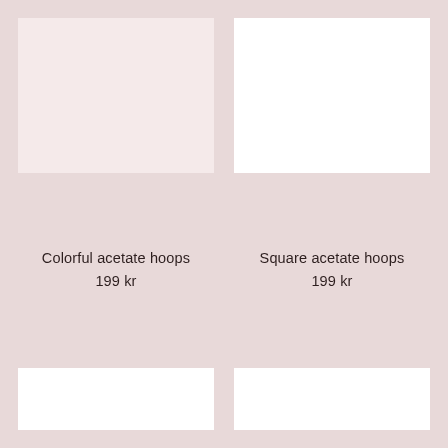[Figure (photo): Product image placeholder for Colorful acetate hoops, light pink/blush background]
[Figure (photo): Product image placeholder for Square acetate hoops, white background]
Colorful acetate hoops
199 kr
Square acetate hoops
199 kr
[Figure (photo): Product image placeholder, white background, bottom left]
[Figure (photo): Product image placeholder, white background, bottom right]